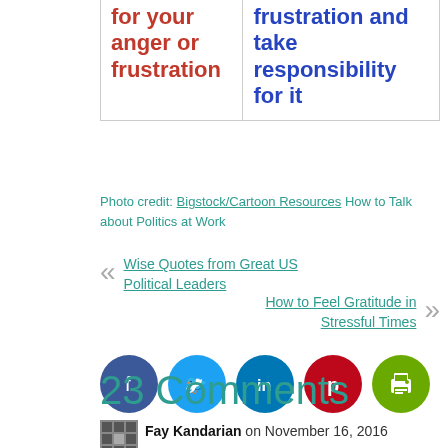| for your anger or frustration | frustration and take responsibility for it |
Photo credit: Bigstock/Cartoon Resources How to Talk about Politics at Work
« Wise Quotes from Great US Political Leaders
How to Feel Gratitude in Stressful Times »
[Figure (infographic): Social sharing icons: Facebook (dark blue circle), Twitter (light blue circle), LinkedIn (blue circle), Pinterest (red circle), Print (green circle)]
23 Comments
Fay Kandarian on November 16, 2016